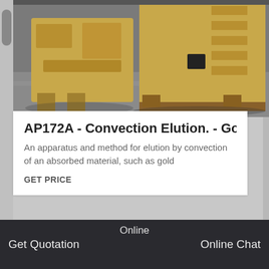[Figure (photo): Industrial heavy machinery (jaw crusher or similar) in a factory/warehouse setting, painted yellow/beige, on a concrete floor]
AP172A - Convection Elution. - Goo
An apparatus and method for elution by convection of an absorbed material, such as gold
GET PRICE
[Figure (photo): Large red gear rings/ring gears inside an industrial facility with orange overhead cranes, likely a mining or cement mill]
Online
Get Quotation
Online Chat